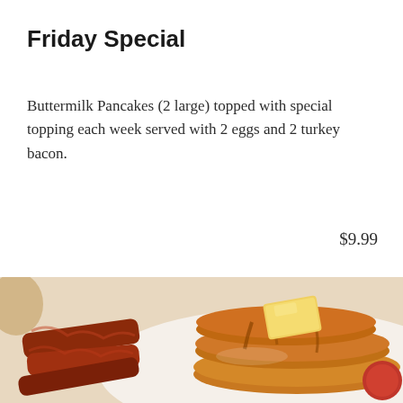Friday Special
Buttermilk Pancakes (2 large) topped with special topping each week served with 2 eggs and 2 turkey bacon.
$9.99
[Figure (photo): Photo of a stack of buttermilk pancakes topped with a pat of butter and syrup, served alongside crispy bacon strips and garnished with tomatoes on a white plate.]